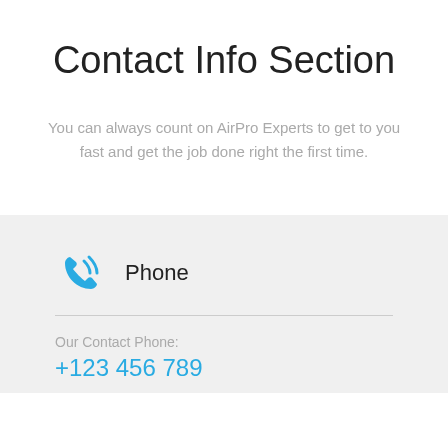Contact Info Section
You can always count on AirPro Experts to get to you fast and get the job done right the first time.
Phone
Our Contact Phone:
+123 456 789